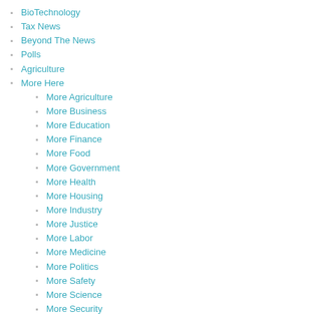BioTechnology
Tax News
Beyond The News
Polls
Agriculture
More Here
More Agriculture
More Business
More Education
More Finance
More Food
More Government
More Health
More Housing
More Industry
More Justice
More Labor
More Medicine
More Politics
More Safety
More Science
More Security
More Technology
More Transportation
More Seniors
More Forums
More Blogs